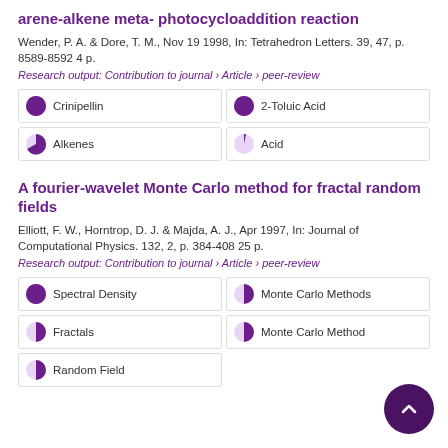arene-alkene meta-photocycloaddition reaction
Wender, P. A. & Dore, T. M., Nov 19 1998, In: Tetrahedron Letters. 39, 47, p. 8589-8592 4 p.
Research output: Contribution to journal › Article › peer-review
Crinipellin
2-Toluic Acid
Alkenes
Acid
A fourier-wavelet Monte Carlo method for fractal random fields
Elliott, F. W., Horntrop, D. J. & Majda, A. J., Apr 1997, In: Journal of Computational Physics. 132, 2, p. 384-408 25 p.
Research output: Contribution to journal › Article › peer-review
Spectral Density
Monte Carlo Methods
Fractals
Monte Carlo Method
Random Field